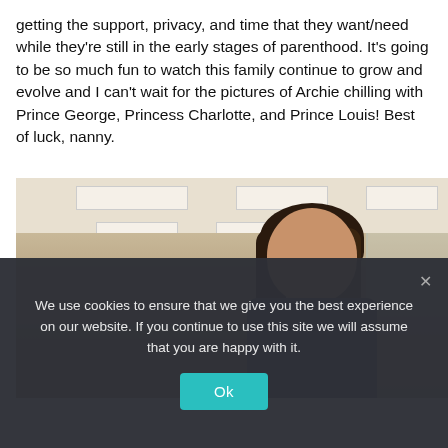getting the support, privacy, and time that they want/need while they're still in the early stages of parenthood. It's going to be so much fun to watch this family continue to grow and evolve and I can't wait for the pictures of Archie chilling with Prince George, Princess Charlotte, and Prince Louis! Best of luck, nanny.
[Figure (photo): A smiling woman with long dark hair standing in an office environment with ceiling lights and glass partitions visible in the background.]
We use cookies to ensure that we give you the best experience on our website. If you continue to use this site we will assume that you are happy with it.